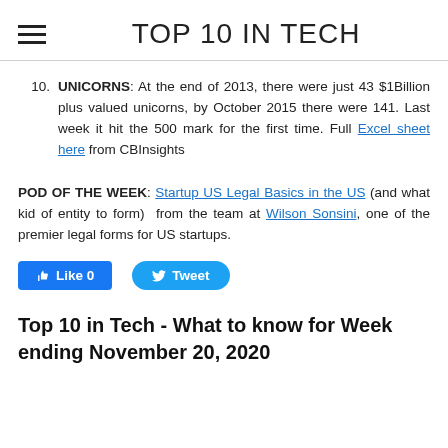TOP 10 IN TECH
UNICORNS: At the end of 2013, there were just 43 $1Billion plus valued unicorns, by October 2015 there were 141. Last week it hit the 500 mark for the first time. Full Excel sheet here from CBInsights
POD OF THE WEEK: Startup US Legal Basics in the US (and what kid of entity to form) from the team at Wilson Sonsini, one of the premier legal forms for US startups.
[Figure (other): Social media buttons: Facebook Like (0) and Twitter Tweet]
Top 10 in Tech - What to know for Week ending November 20, 2020